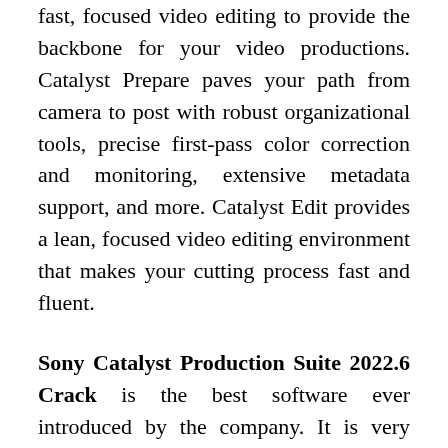fast, focused video editing to provide the backbone for your video productions. Catalyst Prepare paves your path from camera to post with robust organizational tools, precise first-pass color correction and monitoring, extensive metadata support, and more. Catalyst Edit provides a lean, focused video editing environment that makes your cutting process fast and fluent.
Sony Catalyst Production Suite 2022.6 Crack is the best software ever introduced by the company. It is very famous due to its user friendly interface and mostly computer literate people do not require the training for operating this latest version of the software. Moreover, the previous experience of Sony Catalyst